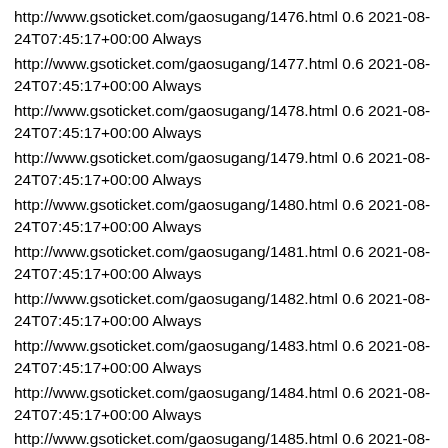http://www.gsoticket.com/gaosugang/1476.html 0.6 2021-08-24T07:45:17+00:00 Always
http://www.gsoticket.com/gaosugang/1477.html 0.6 2021-08-24T07:45:17+00:00 Always
http://www.gsoticket.com/gaosugang/1478.html 0.6 2021-08-24T07:45:17+00:00 Always
http://www.gsoticket.com/gaosugang/1479.html 0.6 2021-08-24T07:45:17+00:00 Always
http://www.gsoticket.com/gaosugang/1480.html 0.6 2021-08-24T07:45:17+00:00 Always
http://www.gsoticket.com/gaosugang/1481.html 0.6 2021-08-24T07:45:17+00:00 Always
http://www.gsoticket.com/gaosugang/1482.html 0.6 2021-08-24T07:45:17+00:00 Always
http://www.gsoticket.com/gaosugang/1483.html 0.6 2021-08-24T07:45:17+00:00 Always
http://www.gsoticket.com/gaosugang/1484.html 0.6 2021-08-24T07:45:17+00:00 Always
http://www.gsoticket.com/gaosugang/1485.html 0.6 2021-08-24T07:45:17+00:00 Always
http://www.gsoticket.com/gaosugang/1486.html 0.6 2021-08-24T07:45:17+00:00 Always
http://www.gsoticket.com/gaosugang/1487.html 0.6 2021-08-24T07:45:17+00:00 Always
http://www.gsoticket.com/gaosugang/1488.html 0.6 2021-08-